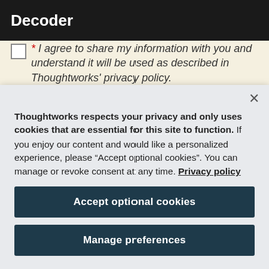Decoder
* I agree to share my information with you and understand it will be used as described in Thoughtworks' privacy policy.
Thoughtworks respects your privacy and only uses cookies that are essential for this site to function. If you enjoy our content and would like a personalized experience, please “Accept optional cookies”. You can manage or revoke consent at any time. Privacy policy
Accept optional cookies
Manage preferences